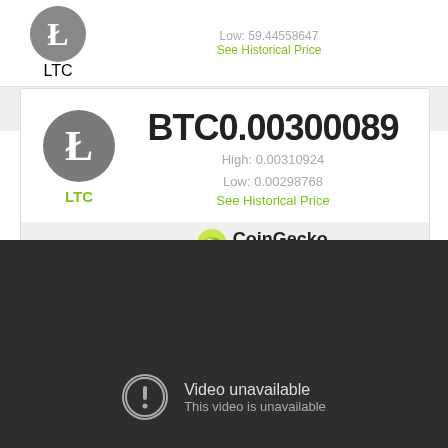[Figure (screenshot): LTC Litecoin price card (top, partial) showing Low: 59.44558647 and See Historical Price link, powered by CoinGecko Beta]
[Figure (screenshot): LTC Litecoin price card showing BTC0.00300089 with High: 0.00310924, Low: 0.00298768, See Historical Price link, powered by CoinGecko Beta]
[Figure (screenshot): Dark video player showing Video unavailable - This video is unavailable message]